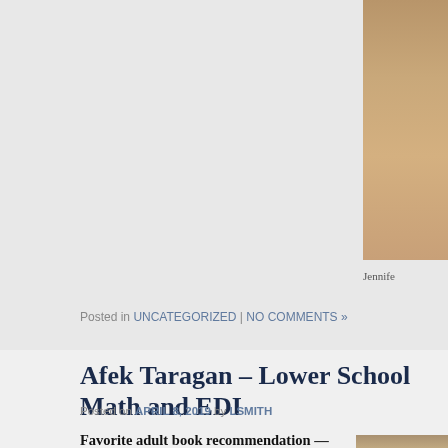[Figure (photo): Partial photo of a person, cropped on the right side of the page, showing warm brown tones]
Jennife
Posted in UNCATEGORIZED | NO COMMENTS »
Afek Taragan – Lower School Math and EDI
Posted on APRIL 8, 2019 by LSMITH
Favorite adult book recommendation — Einstein's Dreams by Alan Lightman
Each of Albert Einstein's dreams explores a
[Figure (photo): Partial photo visible at bottom right, appears to be a bookshelf or indoor scene]